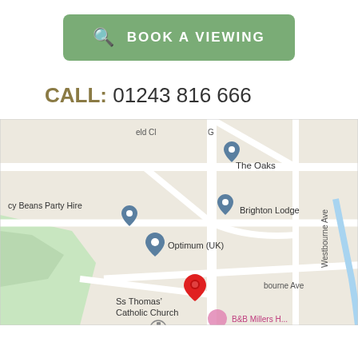[Figure (other): Green button with binoculars icon and text BOOK A VIEWING]
CALL: 01243 816 666
[Figure (map): Google Maps screenshot showing The Oaks, Brighton Lodge, Optimum (UK), Cy Beans Party Hire, Ss Thomas' Catholic Church, and a red location pin on Westbourne Ave area]